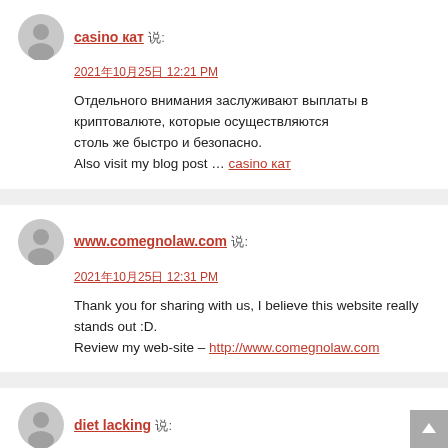casino кат 说: 2021年10月25日 12:21 PM — Отдельного внимания заслуживают выплаты в криптовалюте, которые осуществляются столь же быстро и безопасно. Also visit my blog post … casino кат
www.comegnolaw.com 说: 2021年10月25日 12:31 PM — Thank you for sharing with us, I believe this website really stands out :D. Review my web-site – http://www.comegnolaw.com
diet lacking 说: